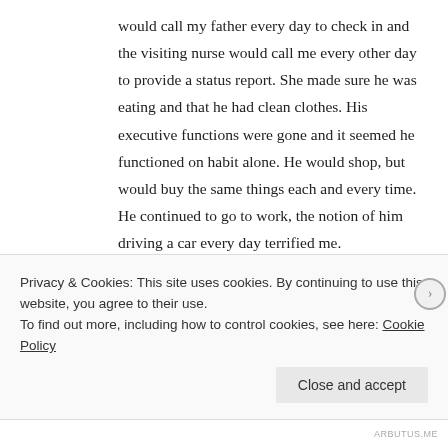would call my father every day to check in and the visiting nurse would call me every other day to provide a status report. She made sure he was eating and that he had clean clothes. His executive functions were gone and it seemed he functioned on habit alone. He would shop, but would buy the same things each and every time. He continued to go to work, the notion of him driving a car every day terrified me.
Talia and I worked in concert to try and find a solution. We spoke to elder care attorneys and doctors. We learned that the Commonwealth of Massachusetts would take him into an elder care center that neither we nor my mother could afford otherwise. We learned
Privacy & Cookies: This site uses cookies. By continuing to use this website, you agree to their use.
To find out more, including how to control cookies, see here: Cookie Policy
Close and accept